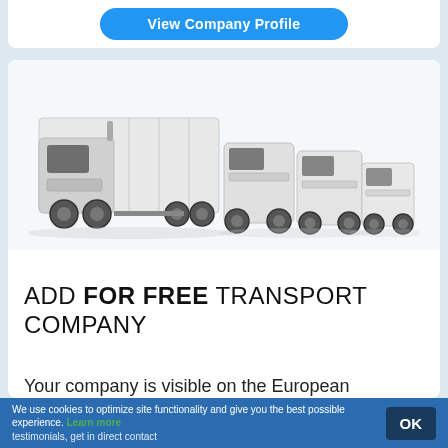[Figure (other): Blue rounded button labeled 'View Company Profile' on white card background]
[Figure (photo): Fleet of white transport vehicles: large semi-truck on left, medium vans in center, small van on right, arranged by size on light gray background]
ADD FOR FREE TRANSPORT COMPANY
Your company is visible on the European transport market, build your reputation, receive testimonials, get in direct contact
We use cookies to optimize site functionality and give you the best possible experience. Learn more